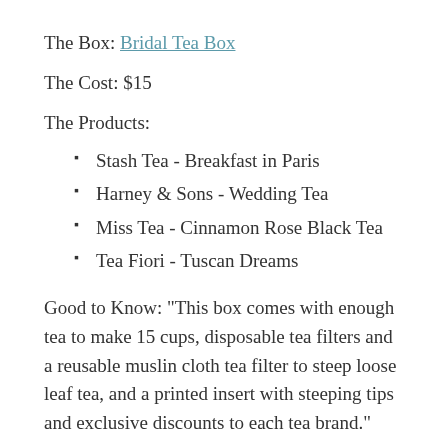The Box: Bridal Tea Box
The Cost: $15
The Products:
Stash Tea - Breakfast in Paris
Harney & Sons - Wedding Tea
Miss Tea - Cinnamon Rose Black Tea
Tea Fiori - Tuscan Dreams
Good to Know: "This box comes with enough tea to make 15 cups, disposable tea filters and a reusable muslin cloth tea filter to steep loose leaf tea, and a printed insert with steeping tips and exclusive discounts to each tea brand."